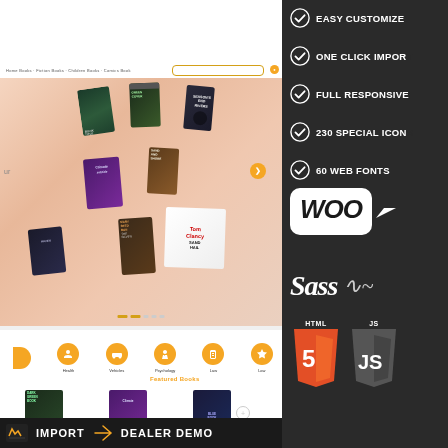[Figure (screenshot): Bookstore website screenshot showing navigation bar with search, hero slider with floating book covers, category icons row (Health, Vehicles, Psychology, Law), and product grid with book covers and prices]
EASY CUSTOMIZE
ONE CLICK IMPORT
FULL RESPONSIVE
230 SPECIAL ICONS
60 WEB FONTS
[Figure (logo): WooCommerce logo badge in white rounded rectangle]
[Figure (logo): Sass logo in white italic text]
[Figure (logo): HTML5 shield logo and JS shield logo]
LIVE CHAT